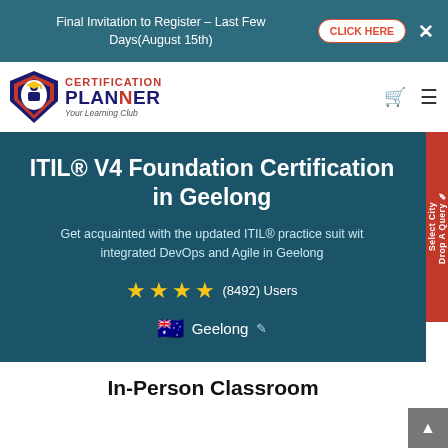Final Invitation to Register - Last Few Days(August 15th)
[Figure (logo): Certification Planner logo with shield icon and tagline 'Your Learning Club']
ITIL® V4 Foundation Certification in Geelong
Get acquainted with the updated ITIL® practice suit with integrated DevOps and Agile in Geelong
★★★★ (8492) Users
Geelong
In-Person Classroom